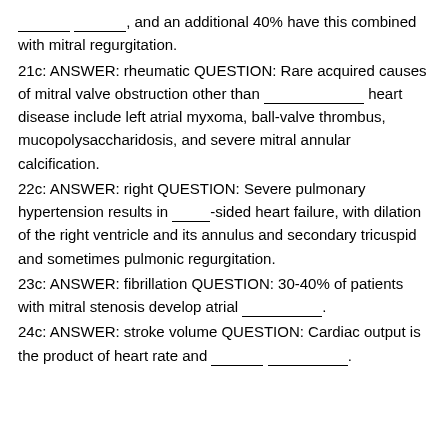________ ________, and an additional 40% have this combined with mitral regurgitation.
21c: ANSWER: rheumatic QUESTION: Rare acquired causes of mitral valve obstruction other than __________ heart disease include left atrial myxoma, ball-valve thrombus, mucopolysaccharidosis, and severe mitral annular calcification.
22c: ANSWER: right QUESTION: Severe pulmonary hypertension results in ______-sided heart failure, with dilation of the right ventricle and its annulus and secondary tricuspid and sometimes pulmonic regurgitation.
23c: ANSWER: fibrillation QUESTION: 30-40% of patients with mitral stenosis develop atrial ______________.
24c: ANSWER: stroke volume QUESTION: Cardiac output is the product of heart rate and ________ _____________.